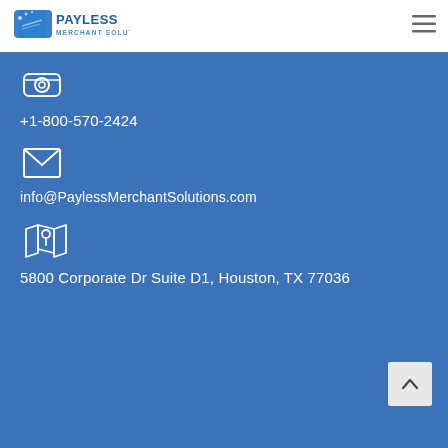[Figure (logo): Payless Merchant Solutions logo with blue text and payment card imagery]
[Figure (illustration): Hamburger menu icon (three horizontal lines)]
[Figure (illustration): Phone/telephone icon in white outline style]
+1-800-570-2424
[Figure (illustration): Envelope/email icon in white outline style]
info@PaylessMerchantSolutions.com
[Figure (illustration): Map/location pin icon in white outline style]
5800 Corporate Dr Suite D1, Houston, TX 77036